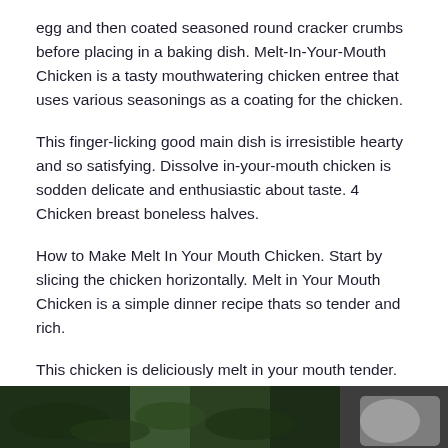egg and then coated seasoned round cracker crumbs before placing in a baking dish. Melt-In-Your-Mouth Chicken is a tasty mouthwatering chicken entree that uses various seasonings as a coating for the chicken.
This finger-licking good main dish is irresistible hearty and so satisfying. Dissolve in-your-mouth chicken is sodden delicate and enthusiastic about taste. 4 Chicken breast boneless halves.
How to Make Melt In Your Mouth Chicken. Start by slicing the chicken horizontally. Melt in Your Mouth Chicken is a simple dinner recipe thats so tender and rich.
This chicken is deliciously melt in your mouth tender. Mix together sour cream mayonnaise paprika and garlic powder. Add half the parmesan cheese.
Melt in your mouth chicken gets its name from the mayonnaise and Parmesan cheese coating that helps lock in ALL the moisture while giving it a deep golden brown color and flavor. Butter is cut up.
[Figure (photo): A photo of a dish, partially visible at the bottom of the page, showing green herbs or vegetables on a dark plate.]